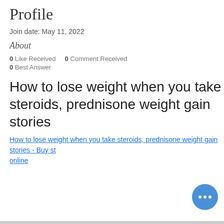Profile
Join date: May 11, 2022
About
0 Like Received   0 Comment Received
0 Best Answer
How to lose weight when you take steroids, prednisone weight gain stories
How to lose weight when you take steroids, prednisone weight gain stories - Buy steroids online